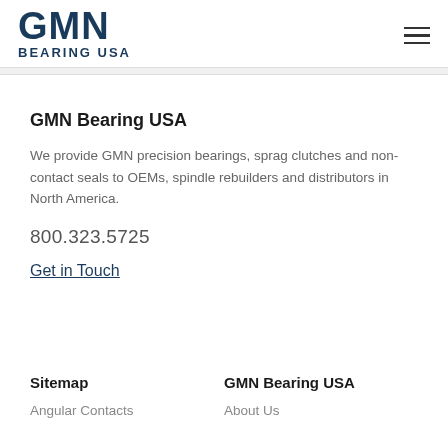GMN BEARING USA
GMN Bearing USA
We provide GMN precision bearings, sprag clutches and non-contact seals to OEMs, spindle rebuilders and distributors in North America.
800.323.5725
Get in Touch
Sitemap
GMN Bearing USA
Angular Contacts
About Us